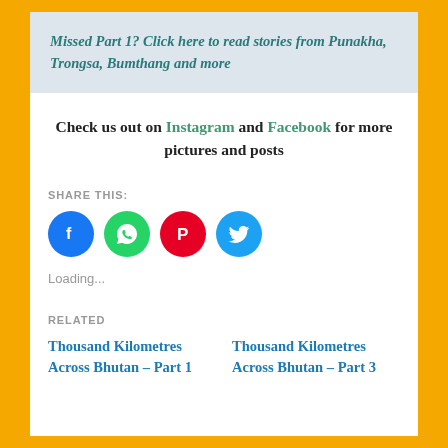Missed Part 1? Click here to read stories from Punakha, Trongsa, Bumthang and more
Check us out on Instagram and Facebook for more pictures and posts
SHARE THIS:
[Figure (infographic): Four social media share buttons: Facebook (blue circle), WhatsApp (green circle), Pinterest (red circle), Twitter (light blue circle)]
Loading...
RELATED
Thousand Kilometres Across Bhutan – Part 1
Thousand Kilometres Across Bhutan – Part 3